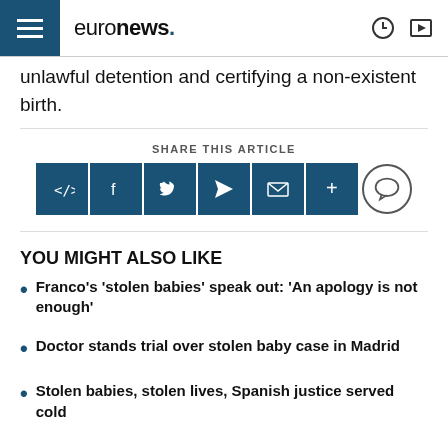euronews.
unlawful detention and certifying a non-existent birth.
SHARE THIS ARTICLE
YOU MIGHT ALSO LIKE
Franco's 'stolen babies' speak out: 'An apology is not enough'
Doctor stands trial over stolen baby case in Madrid
Stolen babies, stolen lives, Spanish justice served cold